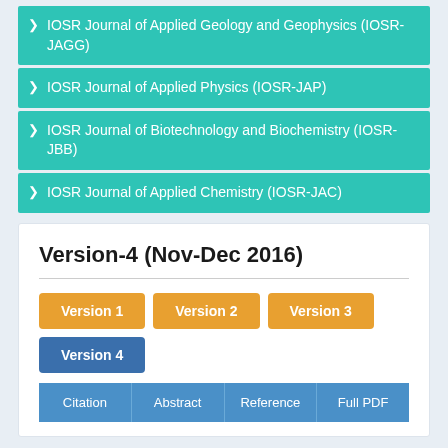IOSR Journal of Applied Geology and Geophysics (IOSR-JAGG)
IOSR Journal of Applied Physics (IOSR-JAP)
IOSR Journal of Biotechnology and Biochemistry (IOSR-JBB)
IOSR Journal of Applied Chemistry (IOSR-JAC)
Version-4 (Nov-Dec 2016)
Version 1  Version 2  Version 3  Version 4
Citation  Abstract  Reference  Full PDF